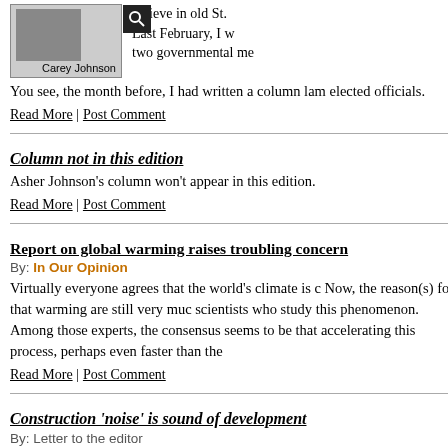[Figure (photo): Photo of Carey Johnson with caption below]
believe in old St. Last February, I w two governmental me
You see, the month before, I had written a column lam elected officials.
Read More | Post Comment
Column not in this edition
Asher Johnson's column won't appear in this edition.
Read More | Post Comment
Report on global warming raises troubling concern
By: In Our Opinion
Virtually everyone agrees that the world's climate is c Now, the reason(s) for that warming are still very muc scientists who study this phenomenon. Among those experts, the consensus seems to be that accelerating this process, perhaps even faster than the
Read More | Post Comment
Construction 'noise' is sound of development
By: Letter to the editor
Dear editor: